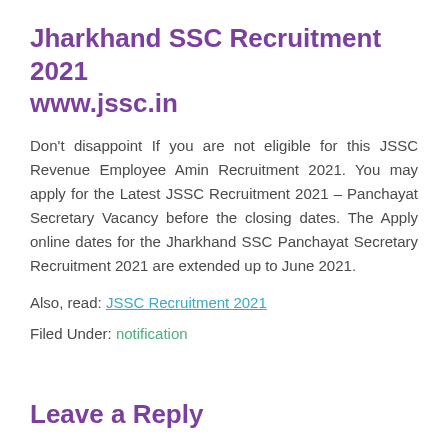Jharkhand SSC Recruitment 2021
www.jssc.in
Don't disappoint If you are not eligible for this JSSC Revenue Employee Amin Recruitment 2021. You may apply for the Latest JSSC Recruitment 2021 – Panchayat Secretary Vacancy before the closing dates. The Apply online dates for the Jharkhand SSC Panchayat Secretary Recruitment 2021 are extended up to June 2021.
Also, read: JSSC Recruitment 2021
Filed Under: notification
Leave a Reply